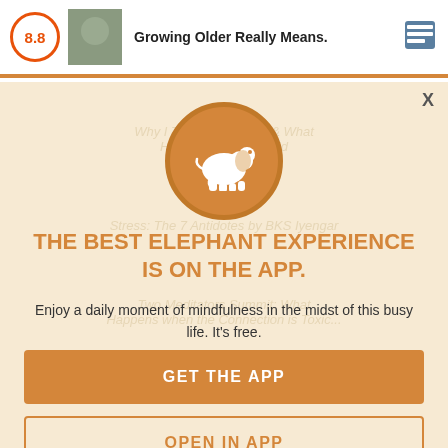Growing Older Really Means.
[Figure (screenshot): App modal popup with elephant logo, title 'THE BEST ELEPHANT EXPERIENCE IS ON THE APP.', subtitle text, and two buttons: GET THE APP and OPEN IN APP]
THE BEST ELEPHANT EXPERIENCE IS ON THE APP.
Enjoy a daily moment of mindfulness in the midst of this busy life. It's free.
GET THE APP
OPEN IN APP